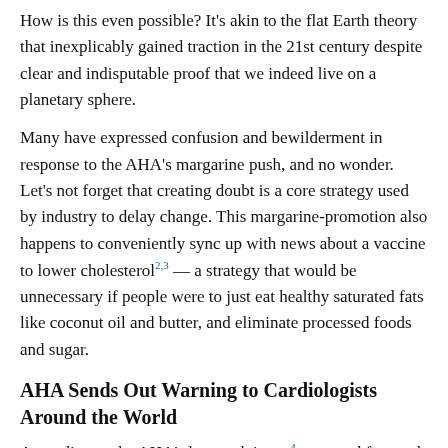How is this even possible? It's akin to the flat Earth theory that inexplicably gained traction in the 21st century despite clear and indisputable proof that we indeed live on a planetary sphere.
Many have expressed confusion and bewilderment in response to the AHA's margarine push, and no wonder. Let's not forget that creating doubt is a core strategy used by industry to delay change. This margarine-promotion also happens to conveniently sync up with news about a vaccine to lower cholesterol2,3 — a strategy that would be unnecessary if people were to just eat healthy saturated fats like coconut oil and butter, and eliminate processed foods and sugar.
AHA Sends Out Warning to Cardiologists Around the World
According to the AHA's latest advisory,4 saturated fats such as butter and coconut oil should be avoided to cut your risk of heart disease. Replacing these fats with polyunsaturated fats such as margarine and vegetable oil might cut heart disease risk by as much as 30 percent, about the same as statins, the AHA claims.
This Presidential Advisory was sent to cardiologists around